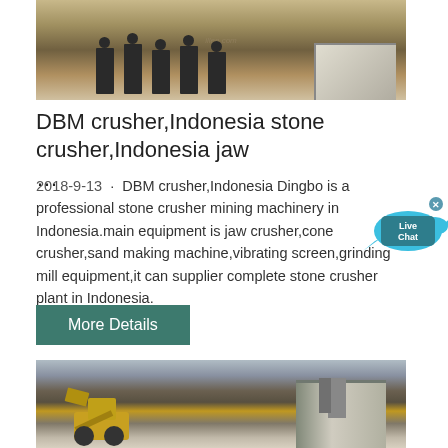[Figure (photo): Group of people standing in front of mining/crushing machinery at an outdoor site]
DBM crusher,Indonesia stone crusher,Indonesia jaw …
2018-9-13 · DBM crusher,Indonesia Dingbo is a professional stone crusher mining machinery in Indonesia.main equipment is jaw crusher,cone crusher,sand making machine,vibrating screen,grinding mill equipment,it can supplier complete stone crusher plant in Indonesia.
[Figure (other): Live Chat bubble/widget with close button]
More Details
[Figure (photo): Yellow front-end loader/bulldozer working at a stone crushing plant site with industrial equipment in the background]